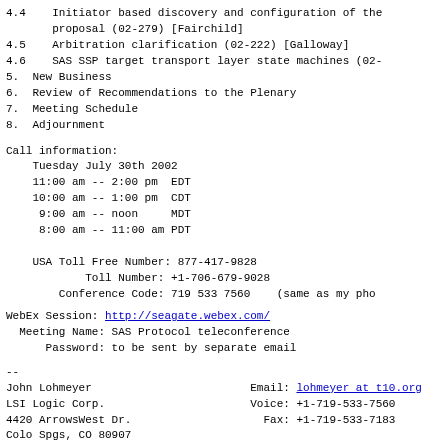4.4    Initiator based discovery and configuration of the
       proposal (02-279) [Fairchild]
4.5    Arbitration clarification (02-222) [Galloway]
4.6    SAS SSP target transport layer state machines (02-
5.  New Business
6.  Review of Recommendations to the Plenary
7.  Meeting Schedule
8.  Adjournment
Call information:
    Tuesday July 30th 2002
    11:00 am -- 2:00 pm  EDT
    10:00 am -- 1:00 pm  CDT
     9:00 am -- noon     MDT
     8:00 am -- 11:00 am PDT

    USA Toll Free Number: 877-417-9828
            Toll Number: +1-706-679-9028
        Conference Code: 719 533 7560    (same as my pho
WebEx Session: http://seagate.webex.com/
  Meeting Name: SAS Protocol teleconference
      Password: to be sent by separate email
--
John Lohmeyer                        Email: lohmeyer at t10.org
LSI Logic Corp.                      Voice: +1-719-533-7560
4420 ArrowsWest Dr.                    Fax: +1-719-533-7183
Colo Spgs, CO 80907